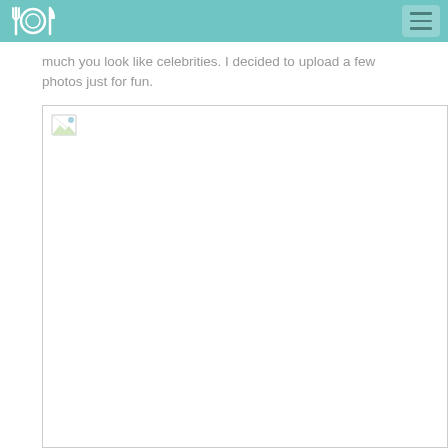[logo] [menu]
much you look like celebrities. I decided to upload a few photos just for fun.
[Figure (photo): Large image placeholder with broken image icon in top-left corner, indicating a failed image load.]